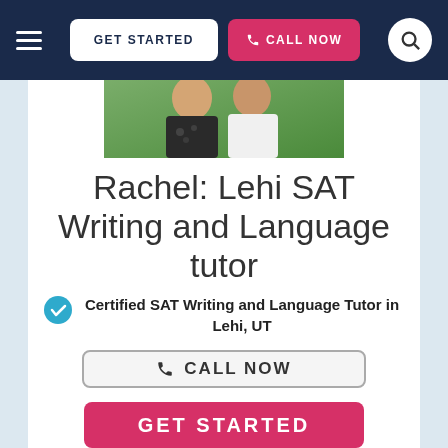GET STARTED  CALL NOW
[Figure (photo): Two people standing outdoors, partial view of upper bodies]
Rachel: Lehi SAT Writing and Language tutor
Certified SAT Writing and Language Tutor in Lehi, UT
CALL NOW
GET STARTED